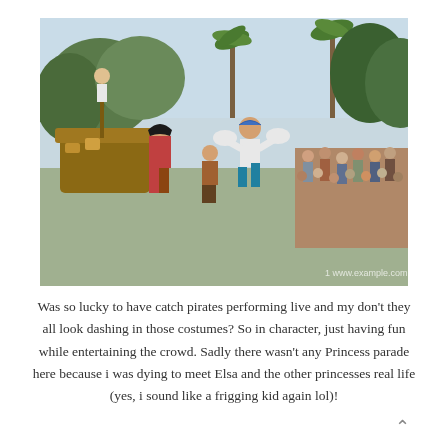[Figure (photo): Outdoor theme park parade scene showing performers dressed as pirates marching along a path. One performer wears a pirate hat and red costume, another wears a blue headscarf and turquoise pants and appears to be jumping. A decorative ship float is visible in the background. Crowds of spectators line the sides. Palm trees and green trees are visible in the background under a bright sky.]
Was so lucky to have catch pirates performing live and my don't they all look dashing in those costumes? So in character, just having fun while entertaining the crowd. Sadly there wasn't any Princess parade here because i was dying to meet Elsa and the other princesses real life (yes, i sound like a frigging kid again lol)!